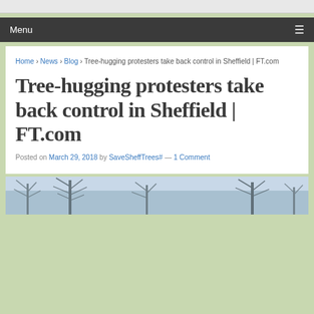Menu
Home › News › Blog › Tree-hugging protesters take back control in Sheffield | FT.com
Tree-hugging protesters take back control in Sheffield | FT.com
Posted on March 29, 2018 by SaveSheffTrees# — 1 Comment
[Figure (photo): Photo showing bare winter trees against a grey sky]